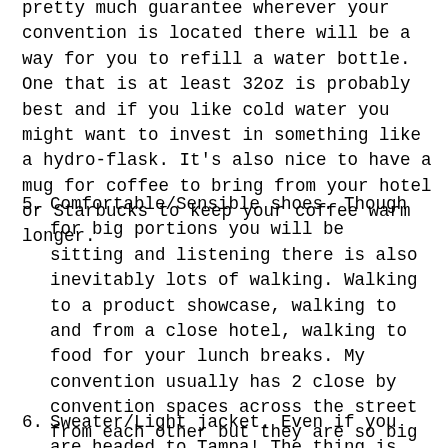pretty much guarantee wherever your convention is located there will be a way for you to refill a water bottle. One that is at least 32oz is probably best and if you like cold water you might want to invest in something like a hydro-flask. It's also nice to have a mug for coffee to bring from your hotel or Starbucks to keep your coffee warm longer.
5. Comfortable/Sensible shoes. Though for big portions you will be sitting and listening there is also inevitably lots of walking. Walking to a product showcase, walking to and from a close hotel, walking to food for your lunch breaks. My convention usually has 2 close by convention spaces across the street from each other but they are so big and there is so much walking between the two for the different trainings etc. that I value the comfort of my shoes.
6. Sweater/Light jacket. Even if you are headed to Tampa! The thing is there are going to be thousands of people